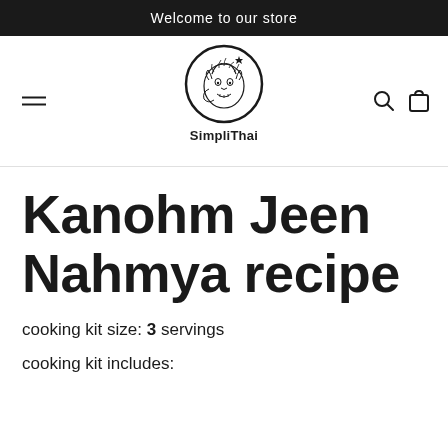Welcome to our store
[Figure (logo): SimpliThai logo: a mythological lion/demon head inside a circle, with the text 'SimpliThai' below]
Kanohm Jeen Nahmya recipe
cooking kit size: 3 servings
cooking kit includes: